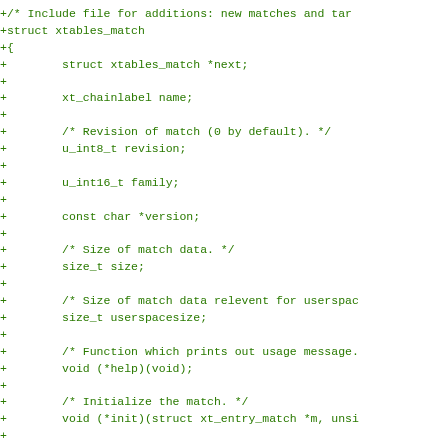+/* Include file for additions: new matches and tar
+struct xtables_match
+{
+        struct xtables_match *next;
+
+        xt_chainlabel name;
+
+        /* Revision of match (0 by default). */
+        u_int8_t revision;
+
+        u_int16_t family;
+
+        const char *version;
+
+        /* Size of match data. */
+        size_t size;
+
+        /* Size of match data relevent for userspac
+        size_t userspacesize;
+
+        /* Function which prints out usage message.
+        void (*help)(void);
+
+        /* Initialize the match. */
+        void (*init)(struct xt_entry_match *m, unsi
+
+        /* Function which parses command options; r
+            ate an option */
+        /* entry is struct ipt_entry for example */
+        int (*parse)(int c, char **argv, int invert